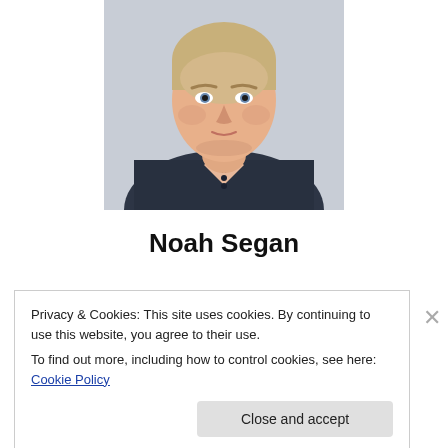[Figure (photo): Portrait photo of Noah Segan, a young man with light hair wearing a dark navy henley sweater, shown from chest up against a light background]
Noah Segan
Privacy & Cookies: This site uses cookies. By continuing to use this website, you agree to their use.
To find out more, including how to control cookies, see here: Cookie Policy
Close and accept